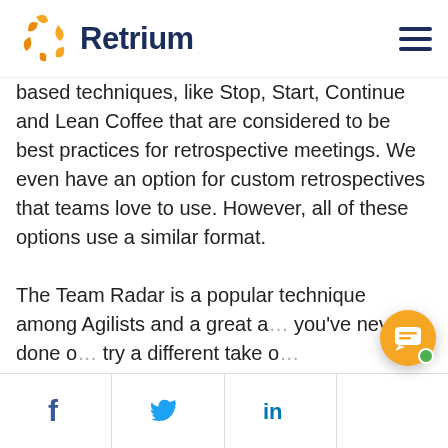Retrium
based techniques, like Stop, Start, Continue and Lean Coffee that are considered to be best practices for retrospective meetings. We even have an option for custom retrospectives that teams love to use. However, all of these options use a similar format.
The Team Radar is a popular technique among Agilists and a great a... you've never done o... try a different take o...
[Figure (screenshot): Chat popup overlay with Retrium logo and text 'Hi, how can we help today?']
Facebook | Twitter | LinkedIn social share buttons